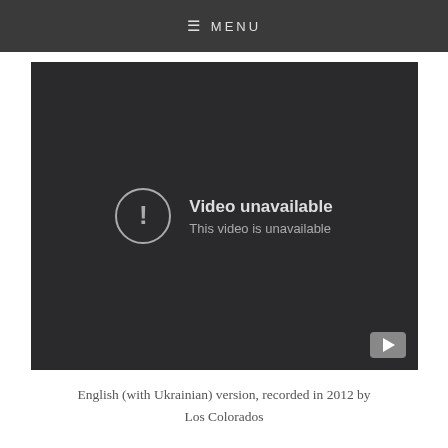☰ MENU
[Figure (screenshot): Embedded video player showing 'Video unavailable — This video is unavailable' error message with a YouTube play button in the bottom right corner, on a dark background.]
English (with Ukrainian) version, recorded in 2012 by Los Colorados